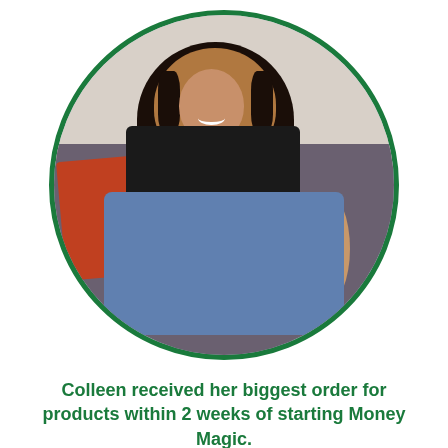[Figure (photo): A woman with long curly dark hair, wearing a black top and blue jeans, smiling and sitting on a grey/purple sofa. The photo is displayed in a circular frame with a dark green border.]
Colleen received her biggest order for products within 2 weeks of starting Money Magic.